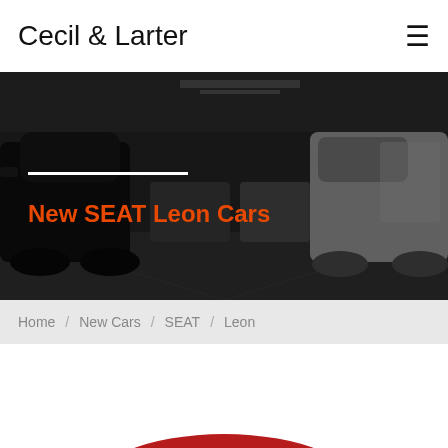Cecil & Larter
[Figure (photo): Car dealership showroom interior with multiple cars parked in a row, dark moody lighting with overlay]
New SEAT Leon Cars
Home / New Cars / SEAT / Leon
[Figure (photo): Partial view of a red SEAT Leon car from above/front angle, bottom of page]